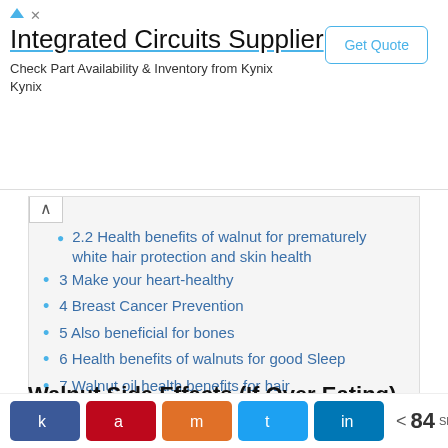[Figure (other): Ad banner for Integrated Circuits Supplier from Kynix with Get Quote button]
2.2 Health benefits of walnut for prematurely white hair protection and skin health
3 Make your heart-healthy
4 Breast Cancer Prevention
5 Also beneficial for bones
6 Health benefits of walnuts for good Sleep
7 Walnut oil health benefits for hair
7.1 Related
Walnut Side Effects (If Over Eating)
You will read about the benefits below, but the
[Figure (other): Social share bar with Facebook, Pinterest, Mix, Twitter, LinkedIn buttons and 84 SHARES count]